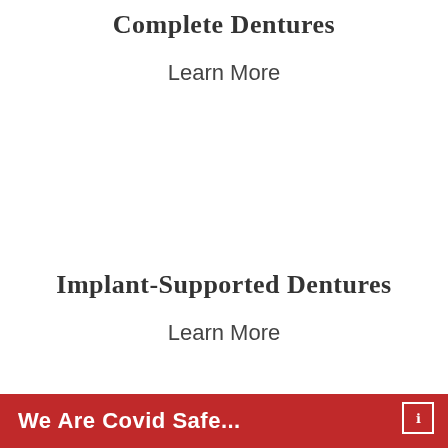Complete Dentures
Learn More
Implant-Supported Dentures
Learn More
We Are Covid Safe...